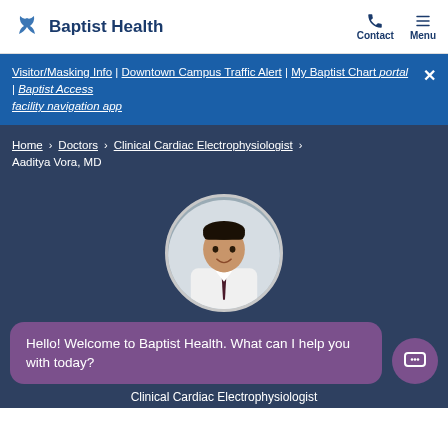Baptist Health — Contact | Menu
Visitor/Masking Info | Downtown Campus Traffic Alert | My Baptist Chart portal | Baptist Access facility navigation app
Home > Doctors > Clinical Cardiac Electrophysiologist > Aaditya Vora, MD
[Figure (photo): Circular headshot photo of Dr. Aaditya Vora, MD, wearing a white coat and dark tie, smiling]
Hello! Welcome to Baptist Health. What can I help you with today?
Clinical Cardiac Electrophysiologist